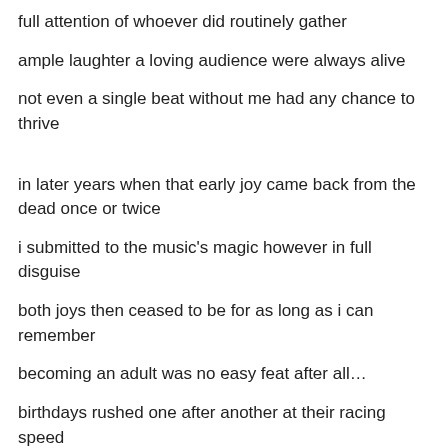full attention of whoever did routinely gather
ample laughter a loving audience were always alive
not even a single beat without me had any chance to thrive
in later years when that early joy came back from the dead once or twice
i submitted to the music's magic however in full disguise
both joys then ceased to be for as long as i can remember
becoming an adult was no easy feat after all…
birthdays rushed one after another at their racing speed